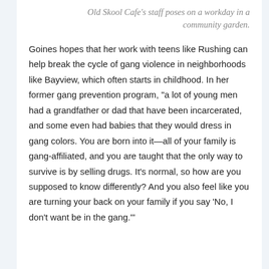Old Skool Cafe's staff poses on a workday in a community garden.
Goines hopes that her work with teens like Rushing can help break the cycle of gang violence in neighborhoods like Bayview, which often starts in childhood. In her former gang prevention program, "a lot of young men had a grandfather or dad that have been incarcerated, and some even had babies that they would dress in gang colors. You are born into it—all of your family is gang-affiliated, and you are taught that the only way to survive is by selling drugs. It's normal, so how are you supposed to know differently? And you also feel like you are turning your back on your family if you say 'No, I don't want be in the gang.'"